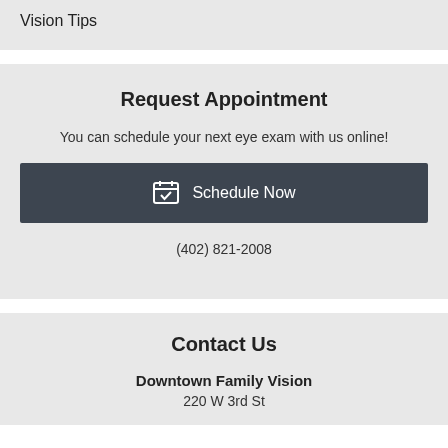Vision Tips
Request Appointment
You can schedule your next eye exam with us online!
Schedule Now
(402) 821-2008
Contact Us
Downtown Family Vision
220 W 3rd St